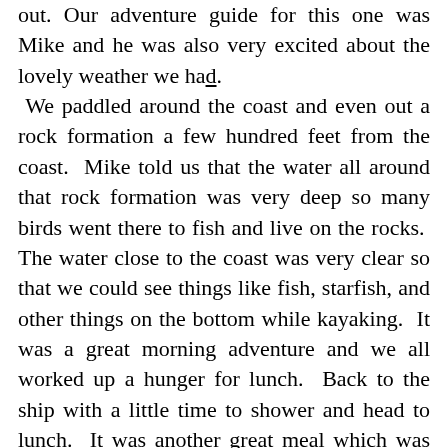out. Our adventure guide for this one was Mike and he was also very excited about the lovely weather we had.  We paddled around the coast and even out a rock formation a few hundred feet from the coast.  Mike told us that the water all around that rock formation was very deep so many birds went there to fish and live on the rocks.  The water close to the coast was very clear so that we could see things like fish, starfish, and other things on the bottom while kayaking.  It was a great morning adventure and we all worked up a hunger for lunch.  Back to the ship with a little time to shower and head to lunch.  It was another great meal which was topped off by the most adorable and equally delicious dessert!  Our pastry chef made macrons shaped like a cactus and filled with a sort of Mexican eggnog cream.  All I could say was OH MY GOD!